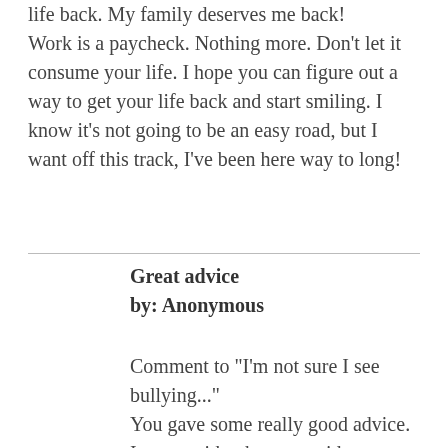life back. My family deserves me back! Work is a paycheck. Nothing more. Don't let it consume your life. I hope you can figure out a way to get your life back and start smiling. I know it's not going to be an easy road, but I want off this track, I've been here way to long!
Great advice
by: Anonymous
Comment to "I'm not sure I see bullying..."
You gave some really good advice. I agree with what you said.